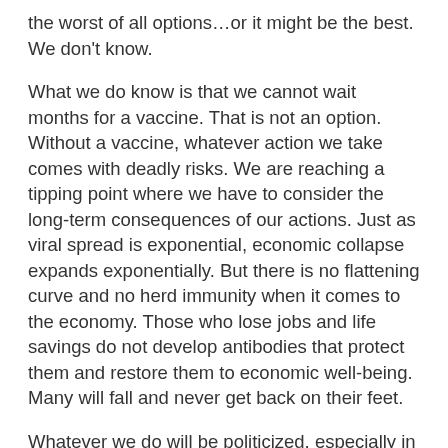the worst of all options…or it might be the best. We don't know.
What we do know is that we cannot wait months for a vaccine. That is not an option. Without a vaccine, whatever action we take comes with deadly risks. We are reaching a tipping point where we have to consider the long-term consequences of our actions. Just as viral spread is exponential, economic collapse expands exponentially. But there is no flattening curve and no herd immunity when it comes to the economy. Those who lose jobs and life savings do not develop antibodies that protect them and restore them to economic well-being. Many will fall and never get back on their feet.
Whatever we do will be politicized, especially in this election year. Politicians, being who they are, will choose the half-measures option. Open up enough of the economy to say they are “opening the economy”, but maintain enough restrictions to protect “the most vulnerable among us”. With the damage already done and without a vaccine, even those who have jobs will not fully return to normal activities or